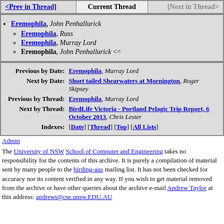| <Prev in Thread] | Current Thread | [Next in Thread> |
| --- | --- | --- |
|  |
Eremophila, John Penhallurick
Eremophila, Russ
Eremophila, Murray Lord
Eremophila, John Penhallurick <=
| Previous by Date: | Eremophila, Murray Lord |
| Next by Date: | Short tailed Shearwaters at Mornington, Roger Skipsey |
| Previous by Thread: | Eremophila, Murray Lord |
| Next by Thread: | BirdLife Victoria - Portland Pelagic Trip Report, 6 October 2013, Chris Lester |
| Indexes: | [Date] [Thread] [Top] [All Lists] |
Admin
The University of NSW School of Computer and Engineering takes no responsibility for the contents of this archive. It is purely a compilation of material sent by many people to the birding-aus mailing list. It has not been checked for accuracy nor its content verified in any way. If you wish to get material removed from the archive or have other queries about the archive e-mail Andrew Taylor at this address: andrewt@cse.unsw.EDU.AU